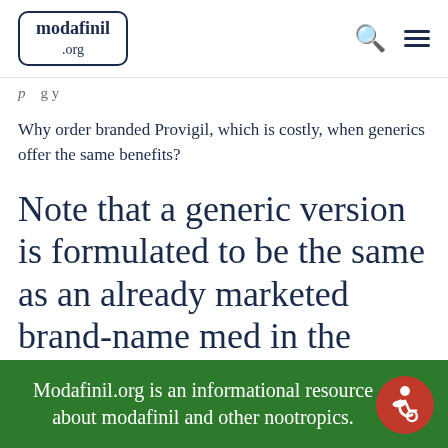modafinil.org
Why order branded Provigil, which is costly, when generics offer the same benefits?
Note that a generic version is formulated to be the same as an already marketed brand-name med in the dosage form, route of administration,
Modafinil.org is an informational resource about modafinil and other nootropics.